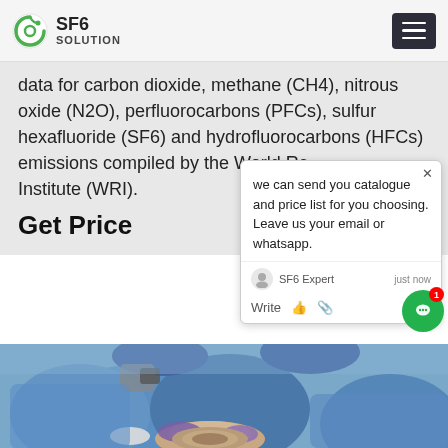SF6 SOLUTION
data for carbon dioxide, methane (CH4), nitrous oxide (N2O), perfluorocarbons (PFCs), sulfur hexafluoride (SF6) and hydrofluorocarbons (HFCs) emissions compiled by the World Resources Institute (WRI).
Get Price
we can send you catalogue and price list for you choosing. Leave us your email or whatsapp.
[Figure (photo): Three workers in blue protective suits and blue hard hats leaning over a piece of industrial equipment, working with their hands on a circular component. Workers appear to be wearing gloves.]